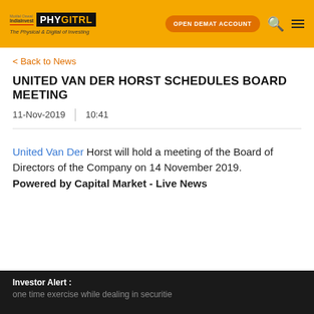[Figure (logo): Motilal Oswal PHYSITRL logo with tagline 'The Physical & Digital of Investing' on orange header bar with 'OPEN DEMAT ACCOUNT' button, search icon, and hamburger menu]
< Back to News
UNITED VAN DER HORST SCHEDULES BOARD MEETING
11-Nov-2019  |  10:41
United Van Der Horst will hold a meeting of the Board of Directors of the Company on 14 November 2019. Powered by Capital Market - Live News
Investor Alert : one time exercise while dealing in securitie